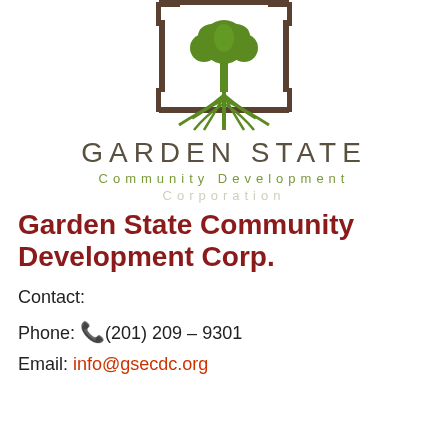[Figure (logo): Garden State Community Development Corporation logo: a green tree/plant with spreading roots inside a brown square frame, centered at the top of the page]
GARDEN STATE
Community Development
Corporation
Garden State Community Development Corp.
Contact:
Phone: 📞(201) 209 – 9301
Email: info@gsecdc.org